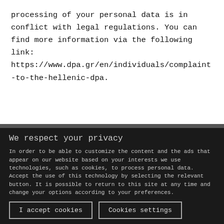processing of your personal data is in conflict with legal regulations. You can find more information via the following link: https://www.dpa.gr/en/individuals/complaint-to-the-hellenic-dpa.
We respect your privacy
In order to be able to customize the content and the ads that appear on our website based on your interests we use technologies, such as cookies, to process personal data. Accept the use of this technology by selecting the relevant button. It is possible to return to this site at any time and change your options according to your preferences.
I accept cookies   Cookies settings